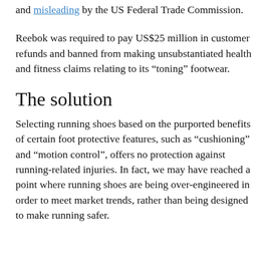and misleading by the US Federal Trade Commission.
Reebok was required to pay US$25 million in customer refunds and banned from making unsubstantiated health and fitness claims relating to its “toning” footwear.
The solution
Selecting running shoes based on the purported benefits of certain foot protective features, such as “cushioning” and “motion control”, offers no protection against running-related injuries. In fact, we may have reached a point where running shoes are being over-engineered in order to meet market trends, rather than being designed to make running safer.